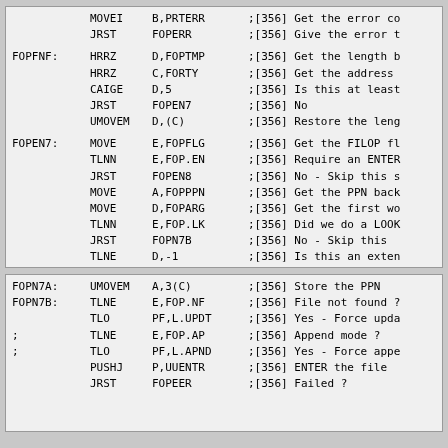| label | opcode | operand | comment |
| --- | --- | --- | --- |
|  | MOVEI | B,PRTERR | ;[356] Get the error co |
|  | JRST | FOPERR | ;[356] Give the error t |
| FOPFNF: | HRRZ | D,FOPTMP | ;[356] Get the length b |
|  | HRRZ | C,FORTY | ;[356] Get the address |
|  | CAIGE | D,5 | ;[356] Is this at least |
|  | JRST | FOPEN7 | ;[356] No |
|  | UMOVEM | D,(C) | ;[356] Restore the leng |
| FOPEN7: | MOVE | E,FOPFLG | ;[356] Get the FILOP fl |
|  | TLNN | E,FOP.EN | ;[356] Require an ENTER |
|  | JRST | FOPEN8 | ;[356] No - Skip this s |
|  | MOVE | A,FOPPPN | ;[356] Get the PPN back |
|  | MOVE | D,FOPARG | ;[356] Get the first wo |
|  | TLNN | E,FOP.LK | ;[356] Did we do a LOOK |
|  | JRST | FOPN7B | ;[356] No - Skip this |
|  | TLNE | D,-1 | ;[356] Is this an exten |
|  | JRST | FOPN7A | ;[356] No - Skip to the |
|  | UMOVEM | A,1(C) | ;[356] Restore the PPN |
|  | JRST | FOPN7B | ;[356] and continue |
| label | opcode | operand | comment |
| --- | --- | --- | --- |
| FOPN7A: | UMOVEM | A,3(C) | ;[356] Store the PPN |
| FOPN7B: | TLNE | E,FOP.NF | ;[356] File not found ? |
|  | TLO | PF,L.UPDT | ;[356] Yes - Force upda |
| ; | TLNE | E,FOP.AP | ;[356] Append mode ? |
| ; | TLO | PF,L.APND | ;[356] Yes - Force appe |
|  | PUSHJ | P,UUENTR | ;[356] ENTER the file |
|  | JRST | FOPEER | ;[356] Failed ? |